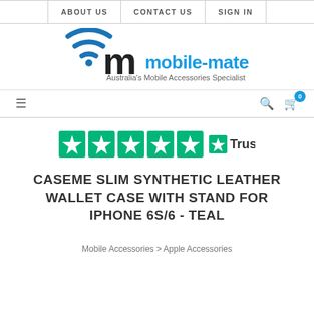ABOUT US | CONTACT US | SIGN IN
[Figure (logo): mobile-mate logo with wifi arc icon and text 'mobile-mate Australia's Mobile Accessories Specialist']
[Figure (infographic): Trustpilot 5-star rating widget with green star icons and Trustpilot logo]
CASEME SLIM SYNTHETIC LEATHER WALLET CASE WITH STAND FOR IPHONE 6S/6 - TEAL
Mobile Accessories > Apple Accessories